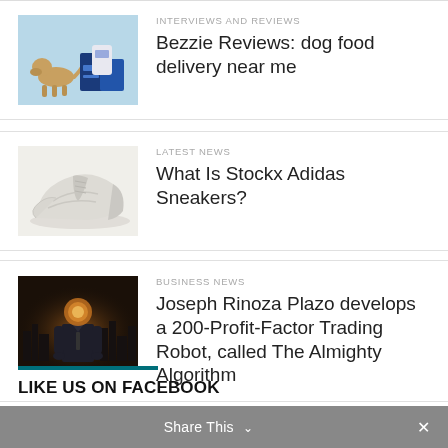[Figure (photo): Dog sniffing blue product boxes on light blue background]
INTERVIEWS AND REVIEWS
Bezzie Reviews: dog food delivery near me
[Figure (photo): White Adidas Yeezy sneaker on white background]
LATEST NEWS
What Is Stockx Adidas Sneakers?
[Figure (photo): AI-generated image of a faceless businessman in suit standing in cityscape with golden light]
BUSINESS NEWS
Joseph Rinoza Plazo develops a 200-Profit-Factor Trading Robot, called The Almighty Algorithm
LIKE US ON FACEBOOK
Share This ∨  ✕